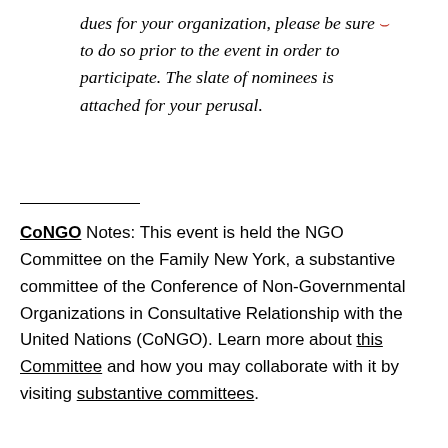dues for your organization, please be sure to do so prior to the event in order to participate. The slate of nominees is attached for your perusal.
CoNGO Notes: This event is held the NGO Committee on the Family New York, a substantive committee of the Conference of Non-Governmental Organizations in Consultative Relationship with the United Nations (CoNGO). Learn more about this Committee and how you may collaborate with it by visiting substantive committees.